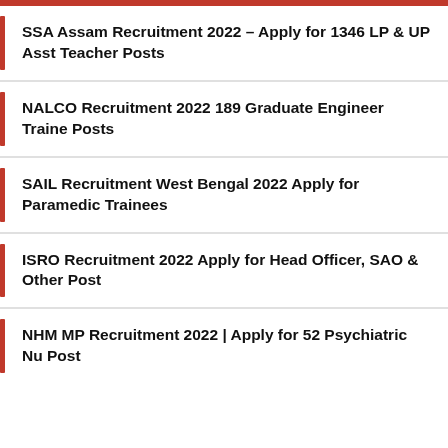SSA Assam Recruitment 2022 – Apply for 1346 LP & UP Asst Teacher Posts
NALCO Recruitment 2022 189 Graduate Engineer Trainee Posts
SAIL Recruitment West Bengal 2022 Apply for Paramedical Trainees
ISRO Recruitment 2022 Apply for Head Officer, SAO & Other Post
NHM MP Recruitment 2022 | Apply for 52 Psychiatric Nurse Post